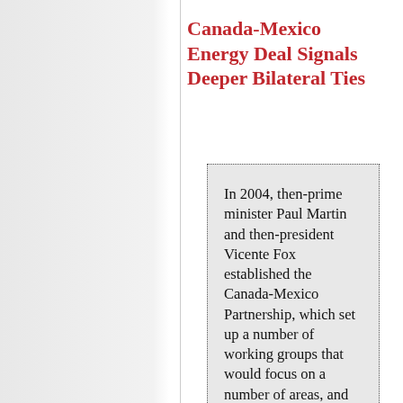Canada-Mexico Energy Deal Signals Deeper Bilateral Ties
In 2004, then-prime minister Paul Martin and then-president Vicente Fox established the Canada-Mexico Partnership, which set up a number of working groups that would focus on a number of areas, and foster closer